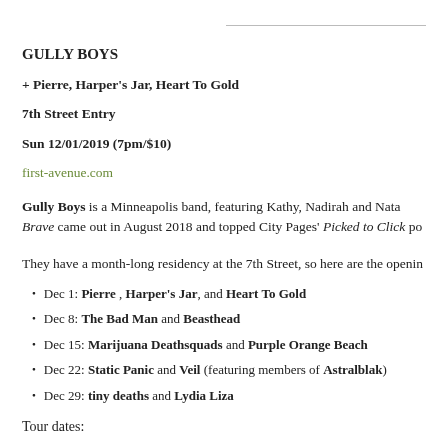GULLY BOYS
+ Pierre, Harper's Jar, Heart To Gold
7th Street Entry
Sun 12/01/2019 (7pm/$10)
first-avenue.com
Gully Boys is a Minneapolis band, featuring Kathy, Nadirah and Nata... Brave came out in August 2018 and topped City Pages' Picked to Click po...
They have a month-long residency at the 7th Street, so here are the openin...
Dec 1: Pierre , Harper's Jar, and Heart To Gold
Dec 8: The Bad Man and Beasthead
Dec 15: Marijuana Deathsquads and Purple Orange Beach
Dec 22: Static Panic and Veil (featuring members of Astralblak)
Dec 29: tiny deaths and Lydia Liza
Tour dates: